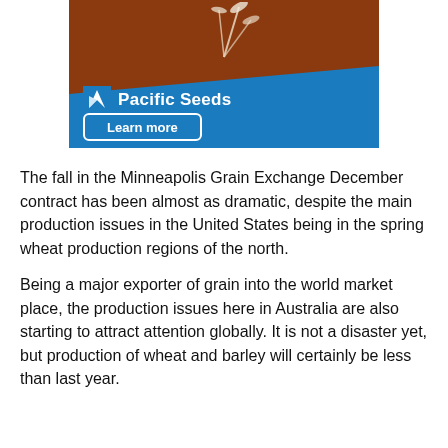[Figure (advertisement): Pacific Seeds advertisement with soil/seed background image and blue diagonal band, logo with leaf icon and 'Pacific Seeds' text, and 'Learn more' button]
The fall in the Minneapolis Grain Exchange December contract has been almost as dramatic, despite the main production issues in the United States being in the spring wheat production regions of the north.
Being a major exporter of grain into the world market place, the production issues here in Australia are also starting to attract attention globally. It is not a disaster yet, but production of wheat and barley will certainly be less than last year.